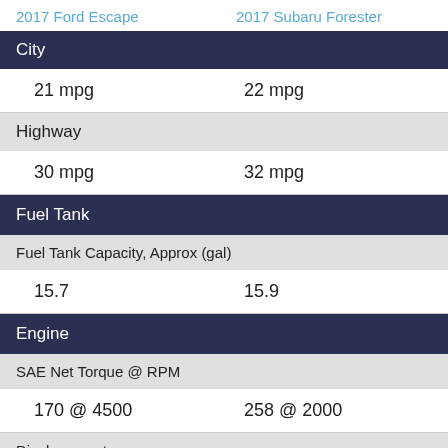2017 Ford Escape    2017 Subaru Forester
|  | 2017 Ford Escape | 2017 Subaru Forester |
| --- | --- | --- |
| City |  |  |
|  | 21 mpg | 22 mpg |
| Highway |  |  |
|  | 30 mpg | 32 mpg |
| Fuel Tank |  |  |
| Fuel Tank Capacity, Approx (gal) |  |  |
|  | 15.7 | 15.9 |
| Engine |  |  |
| SAE Net Torque @ RPM |  |  |
|  | 170 @ 4500 | 258 @ 2000 |
| Displacement |  |  |
|  | 2.5 L/152 | 2.0 L/122 |